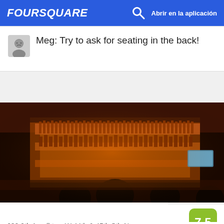FOURSQUARE  Abrir en la aplicación
Meg: Try to ask for seating in the back!
[Figure (photo): Interior photo of a bar at night showing illuminated shelves lined with bottles of liquor and wine, with silhouettes of patrons at the bar counter.]
7. Nizza
630 9th Ave (btwn W 44th & 45th St), Nueva York, NY
Restaurante italiano · Hell's Kitchen · 118 tips y reseñas